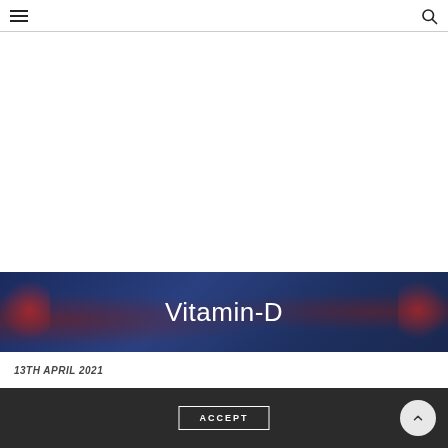☰ [menu] [search]
[Figure (photo): A dark blue-toned banner photo showing a vintage car scene with red taillights visible on the left and right edges, with a license plate reading 7G7 297, and a person's legs visible. The overlay contains the text 'Vitamin-D' in white.]
Vitamin-D
13TH APRIL 2021
ACCEPT [back to top button]